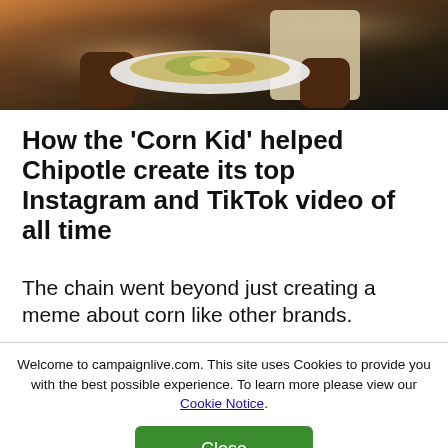[Figure (photo): Person holding a white bowl/plate of food (appears to be a Chipotle meal), wearing a light-colored sleeve. Dark background.]
How the 'Corn Kid' helped Chipotle create its top Instagram and TikTok video of all time
The chain went beyond just creating a meme about corn like other brands.
Welcome to campaignlive.com. This site uses Cookies to provide you with the best possible experience. To learn more please view our Cookie Notice.
Close